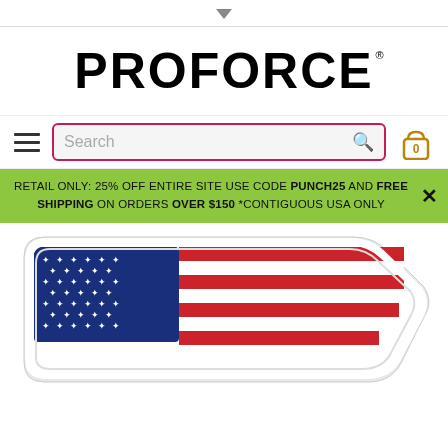[Figure (logo): PROFORCE brand logo in large bold black text with registered trademark symbol]
Search
RETAIL ONLY: 25% OFF ENTIRE SITE USE CODE PUNCH25 AND FREE SHIPPING ON ORDERS OVER $150 *CONTIGUOUS USA ONLY
[Figure (photo): American flag embroidered patch with white border, blue canton with white stars, red and white stripes, shown at bottom of page]